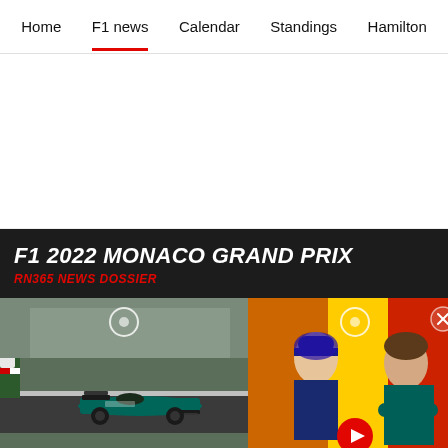Home | F1 news | Calendar | Standings | Hamilton
[Figure (screenshot): White advertisement/blank space area]
F1 2022 MONACO GRAND PRIX
RN365 NEWS DOSSIER
[Figure (photo): F1 racing car (Aston Martin green) on track]
[Figure (photo): Two F1 drivers in press conference, one in Red Bull gear, one in Aston Martin gear, with video play button overlay]